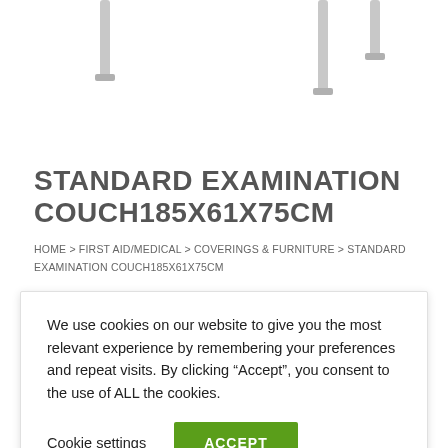[Figure (photo): Partial image of a standard examination couch showing metal table legs against a white background, visible at the top of the page.]
STANDARD EXAMINATION COUCH185X61X75CM
HOME > FIRST AID/MEDICAL > COVERINGS & FURNITURE > STANDARD EXAMINATION COUCH185X61X75CM
We use cookies on our website to give you the most relevant experience by remembering your preferences and repeat visits. By clicking “Accept”, you consent to the use of ALL the cookies.
Cookie settings   ACCEPT